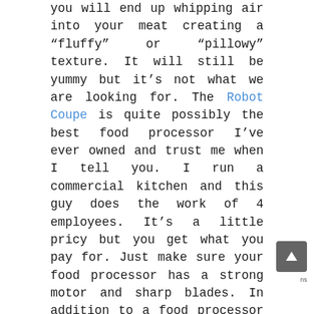you will end up whipping air into your meat creating a “fluffy” or “pillowy” texture. It will still be yummy but it’s not what we are looking for. The Robot Coupe is quite possibly the best food processor I’ve ever owned and trust me when I tell you. I run a commercial kitchen and this guy does the work of 4 employees. It’s a little pricy but you get what you pay for. Just make sure your food processor has a strong motor and sharp blades. In addition to a food processor you’ll need to apply some standard emulsified sausage preparation techniques (see below).
After your sausage is made you’ll poach them for 30-35 minutes or so at 176F. A great way to keep your temps in check is by using a sous vide cooker. We use several but I’ve found that the sous vide by Inkbird is reliable, affordable, and does the job just fine. Once it’s finished poaching it’s ready to eat. Just remove the casing and enjoy your